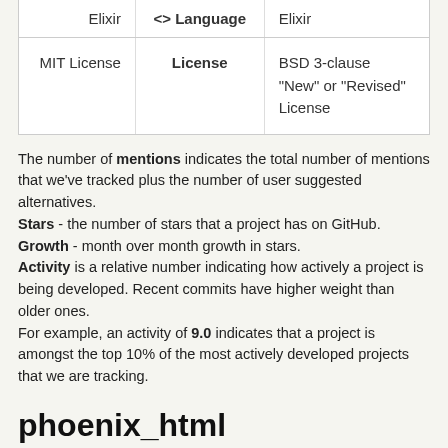|  | Language / License |  |
| --- | --- | --- |
| Elixir | Language | Elixir |
| MIT License | License | BSD 3-clause "New" or "Revised" License |
The number of mentions indicates the total number of mentions that we've tracked plus the number of user suggested alternatives. Stars - the number of stars that a project has on GitHub. Growth - month over month growth in stars. Activity is a relative number indicating how actively a project is being developed. Recent commits have higher weight than older ones. For example, an activity of 9.0 indicates that a project is amongst the top 10% of the most actively developed projects that we are tracking.
phoenix_html
Posts with mentions or reviews of phoenix_html. We have used some of these posts to build our list of alternatives and similar projects.